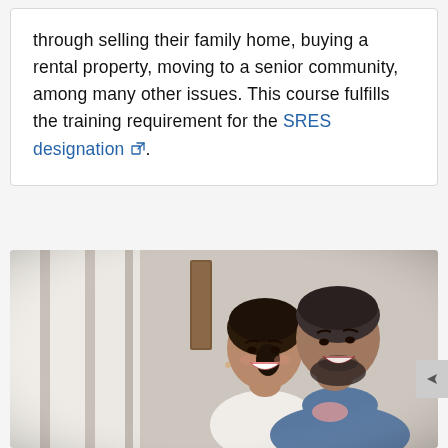through selling their family home, buying a rental property, moving to a senior community, among many other issues. This course fulfills the training requirement for the SRES designation ↗.
[Figure (photo): A smiling couple, a woman and a man, standing together indoors near large windows. The woman has dark hair pulled back and is wearing a white top; the man has short dark hair and a beard, wearing a blue denim shirt. They appear happy and are looking upward.]